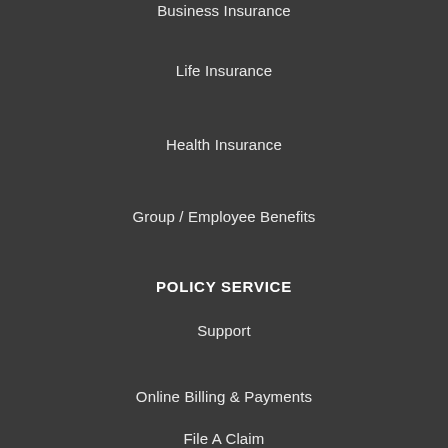Business Insurance
Life Insurance
Health Insurance
Group / Employee Benefits
POLICY SERVICE
Support
Online Billing & Payments
File A Claim